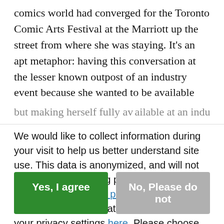comics world had converged for the Toronto Comic Arts Festival at the Marriott up the street from where she was staying. It's an apt metaphor: having this conversation at the lesser known outpost of an industry event because she wanted to be available
We would like to collect information during your visit to help us better understand site use. This data is anonymized, and will not be used for marketing purposes. Read More on our Privacy Policy page. You can withdraw permission at any time or update your privacy settings here. Please choose below to continue.